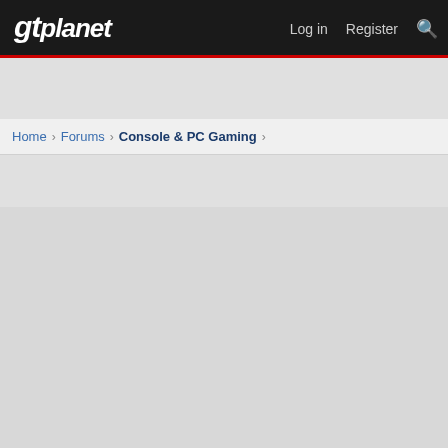gtplanet | Log in | Register
Home > Forums > Console & PC Gaming >
kjb, NLxAROSA, Benny44 and 1 other person
Reply